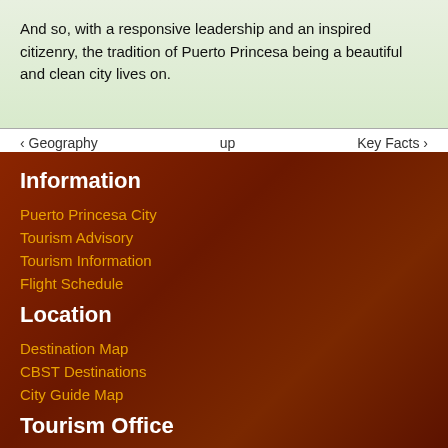And so, with a responsive leadership and an inspired citizenry, the tradition of Puerto Princesa being a beautiful and clean city lives on.
‹ Geography   up   Key Facts ›
Information
Puerto Princesa City
Tourism Advisory
Tourism Information
Flight Schedule
Location
Destination Map
CBST Destinations
City Guide Map
Tourism Office
About Us
Contact Us
Important Numbers